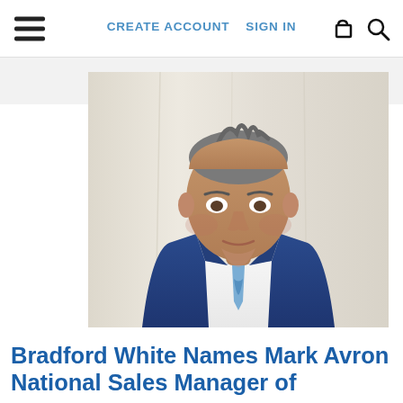CREATE ACCOUNT   SIGN IN
[Figure (photo): Professional headshot of a man in a blue suit with a blue patterned tie, grey hair, white background with curtains]
Bradford White Names Mark Avron National Sales Manager of